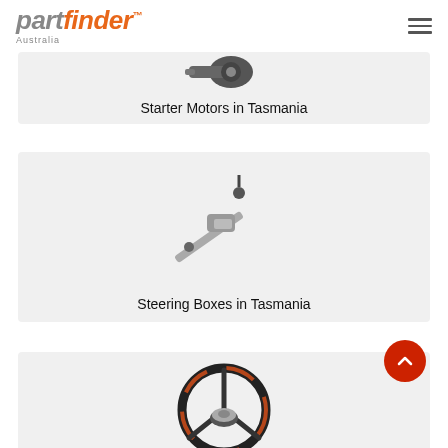partfinder Australia
[Figure (illustration): Starter motor auto part image]
Starter Motors in Tasmania
[Figure (illustration): Steering box / rack and pinion auto part image]
Steering Boxes in Tasmania
[Figure (illustration): Steering wheel auto part image]
Steering Wheels in Tasmania